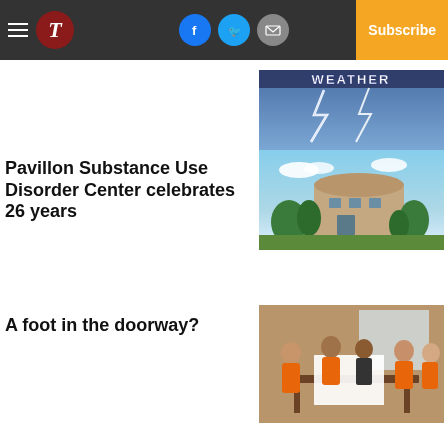Newspaper website header with hamburger menu, T logo, Facebook/Twitter/Email social icons, Log In, and Subscribe button
[Figure (photo): Weather banner with lightning strike image and 'WEATHER' text overlay]
Pavillon Substance Use Disorder Center celebrates 26 years
[Figure (photo): Photo of the Pavillon Substance Use Disorder Center building exterior with trees and blue sky]
A foot in the doorway?
[Figure (photo): Photo of people in orange shirts gathered around a table indoors]